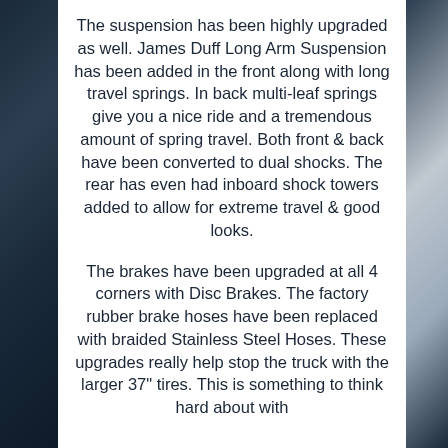The suspension has been highly upgraded as well. James Duff Long Arm Suspension has been added in the front along with long travel springs. In back multi-leaf springs give you a nice ride and a tremendous amount of spring travel. Both front & back have been converted to dual shocks. The rear has even had inboard shock towers added to allow for extreme travel & good looks.
The brakes have been upgraded at all 4 corners with Disc Brakes. The factory rubber brake hoses have been replaced with braided Stainless Steel Hoses. These upgrades really help stop the truck with the larger 37" tires. This is something to think hard about with